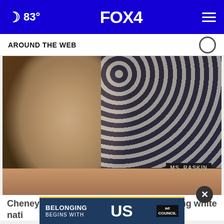🌙 83° FOX 4
AROUND THE WEB
[Figure (photo): Woman with blonde hair and glasses seated at a congressional hearing desk, with a nameplate partially visible, and an American flag in the background]
Cheney slams GOP leadership for enabling white nati...
[Figure (other): Ad banner: BELONGING BEGINS WITH US — Ad Council]